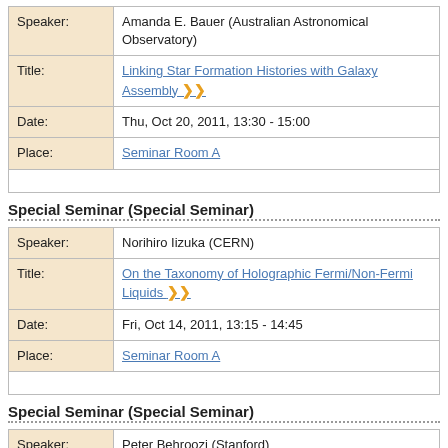| Label | Value |
| --- | --- |
| Speaker: | Amanda E. Bauer (Australian Astronomical Observatory) |
| Title: | Linking Star Formation Histories with Galaxy Assembly ▶▶ |
| Date: | Thu, Oct 20, 2011, 13:30 - 15:00 |
| Place: | Seminar Room A |
Special Seminar (Special Seminar)
| Label | Value |
| --- | --- |
| Speaker: | Norihiro Iizuka (CERN) |
| Title: | On the Taxonomy of Holographic Fermi/Non-Fermi Liquids ▶▶ |
| Date: | Fri, Oct 14, 2011, 13:15 - 14:45 |
| Place: | Seminar Room A |
Special Seminar (Special Seminar)
| Label | Value |
| --- | --- |
| Speaker: | Peter Behroozi (Stanford) |
| Title: | Constraining the Complete Star Formation Histo |